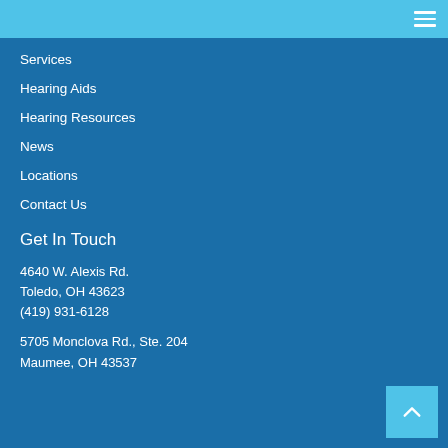Services
Hearing Aids
Hearing Resources
News
Locations
Contact Us
Get In Touch
4640 W. Alexis Rd.
Toledo, OH 43623
(419) 931-6128
5705 Monclova Rd., Ste. 204
Maumee, OH 43537